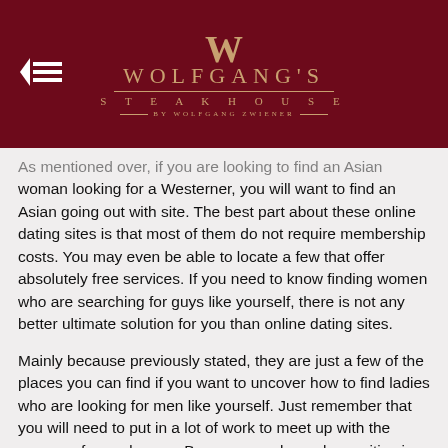[Figure (logo): Wolfgang's Steakhouse logo with dark red background, stylized W monogram and text 'WOLFGANG'S STEAKHOUSE BY WOLFGANG ZWIENER' in gold/beige color]
As mentioned over, if you are looking to find an Asian woman looking for a Westerner, you will want to find an Asian going out with site. The best part about these online dating sites is that most of them do not require membership costs. You may even be able to locate a few that offer absolutely free services. If you need to know finding women who are searching for guys like yourself, there is not any better ultimate solution for you than online dating sites.
Mainly because previously stated, they are just a few of the places you can find if you want to uncover how to find ladies who are looking for men like yourself. Just remember that you will need to put in a lot of work to meet up with the women of your dreams. Be sure you always be positive in your belief and attitude. You may not locate the girl of